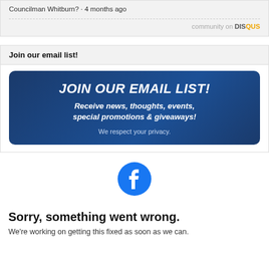Councilman Whitburn? · 4 months ago
community on DISQUS
Join our email list!
[Figure (infographic): Dark blue rounded banner reading JOIN OUR EMAIL LIST! with subtitle 'Receive news, thoughts, events, special promotions & giveaways!' and 'We respect your privacy.']
[Figure (logo): Facebook circular logo icon in blue]
Sorry, something went wrong.
We're working on getting this fixed as soon as we can.